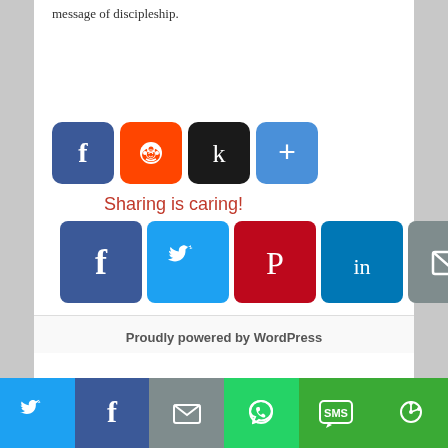message of discipleship.
[Figure (screenshot): Row of four social share buttons: Facebook (blue), Reddit (orange), Kinja (black), and a Share/More button (blue)]
[Figure (infographic): Sharing is caring! label with a decorative red arrow, followed by six social share buttons: Facebook, Twitter, Pinterest, LinkedIn, Email, More]
Proudly powered by WordPress
[Figure (screenshot): Bottom share bar with six colored buttons: Twitter (blue), Facebook (dark blue), Email (gray), WhatsApp (green), SMS (green), More (green)]